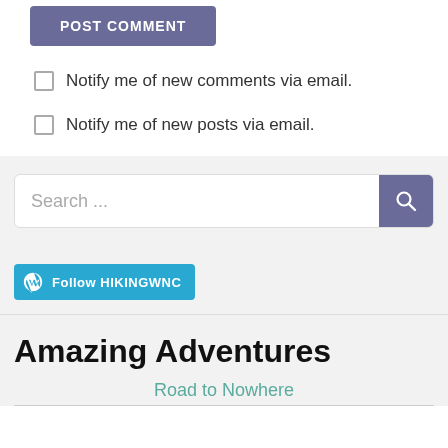POST COMMENT
Notify me of new comments via email.
Notify me of new posts via email.
Search ...
[Figure (logo): Follow HIKINGWNC button with WordPress logo]
Amazing Adventures
Road to Nowhere